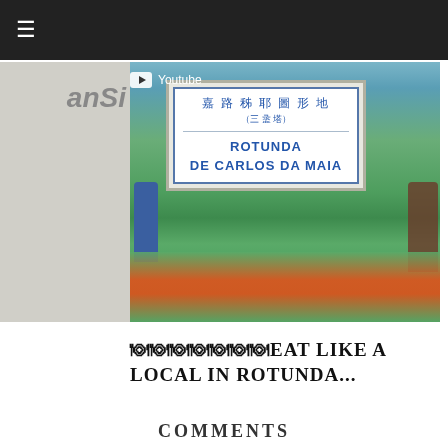☰
[Figure (photo): Street sign reading 'ROTUNDA DE CARLOS DA MAIA' in Portuguese with Chinese characters above, set on a white post among green plants and flowers. A person in blue is visible on the left. A YouTube badge overlay appears in the top-left of the image.]
🍽🍽🍽🍽🍽🍽🍽EAT LIKE A LOCAL IN ROTUNDA...
COMMENTS